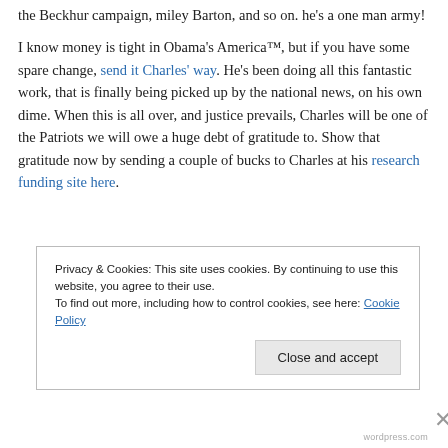the Beckhur campaign, miley Barton, and so on. he's a one man army! I know money is tight in Obama's America™, but if you have some spare change, send it Charles' way. He's been doing all this fantastic work, that is finally being picked up by the national news, on his own dime. When this is all over, and justice prevails, Charles will be one of the Patriots we will owe a huge debt of gratitude to. Show that gratitude now by sending a couple of bucks to Charles at his research funding site here.
Privacy & Cookies: This site uses cookies. By continuing to use this website, you agree to their use. To find out more, including how to control cookies, see here: Cookie Policy